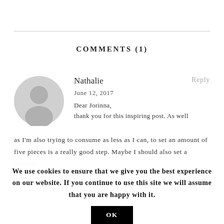COMMENTS (1)
[Figure (illustration): Gray circular user avatar placeholder icon]
Nathalie
Reply
June 12, 2017
Dear Jorinna,
thank you for this inspiring post. As well as I'm also trying to consume as less as I can, to set an amount of five pieces is a really good step. Maybe I should also set a number...
We use cookies to ensure that we give you the best experience on our website. If you continue to use this site we will assume that you are happy with it.
OK